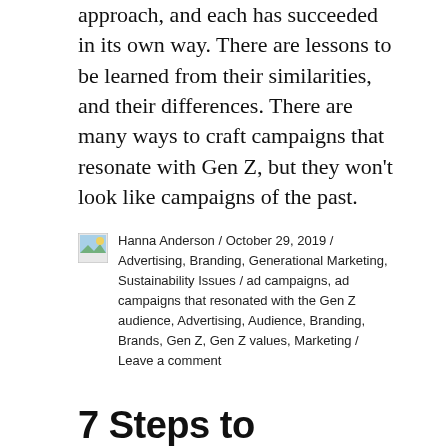approach, and each has succeeded in its own way. There are lessons to be learned from their similarities, and their differences. There are many ways to craft campaigns that resonate with Gen Z, but they won't look like campaigns of the past.
Hanna Anderson / October 29, 2019 / Advertising, Branding, Generational Marketing, Sustainability Issues / ad campaigns, ad campaigns that resonated with the Gen Z audience, Advertising, Audience, Branding, Brands, Gen Z, Gen Z values, Marketing / Leave a comment
7 Steps to Advertising to the Emerging Gen Z Consumer